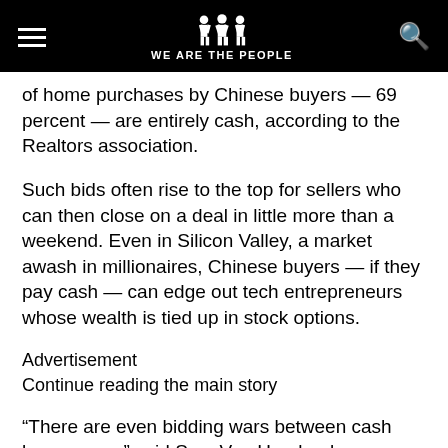WE ARE THE PEOPLE
of home purchases by Chinese buyers — 69 percent — are entirely cash, according to the Realtors association.
Such bids often rise to the top for sellers who can then close on a deal in little more than a weekend. Even in Silicon Valley, a market awash in millionaires, Chinese buyers — if they pay cash — can edge out tech entrepreneurs whose wealth is tied up in stock options.
Advertisement
Continue reading the main story
“There are even bidding wars between cash buyers now,” said Sam Van Horebeek, a director at East-West Property Advisors, a China-based firm that connects Chinese buyers with American real estate agents.